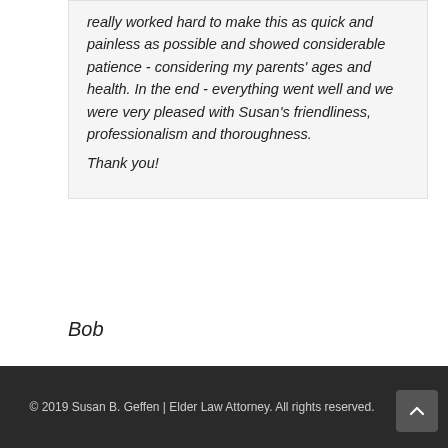really worked hard to make this as quick and painless as possible and showed considerable patience - considering my parents' ages and health. In the end - everything went well and we were very pleased with Susan's friendliness, professionalism and thoroughness.
Thank you!
Bob
© 2019 Susan B. Geffen | Elder Law Attorney. All rights reserved.